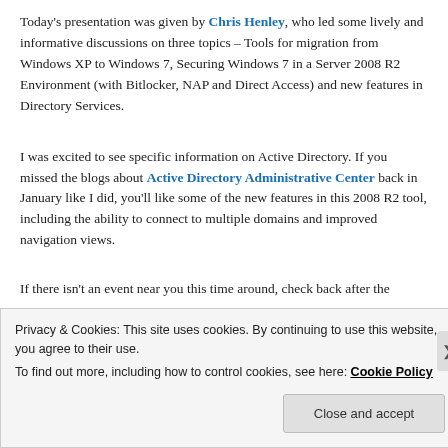Today's presentation was given by Chris Henley, who led some lively and informative discussions on three topics – Tools for migration from Windows XP to Windows 7, Securing Windows 7 in a Server 2008 R2 Environment (with Bitlocker, NAP and Direct Access) and new features in Directory Services.
I was excited to see specific information on Active Directory. If you missed the blogs about Active Directory Administrative Center back in January like I did, you'll like some of the new features in this 2008 R2 tool, including the ability to connect to multiple domains and improved navigation views.
If there isn't an event near you this time around, check back after the
Privacy & Cookies: This site uses cookies. By continuing to use this website, you agree to their use.
To find out more, including how to control cookies, see here: Cookie Policy